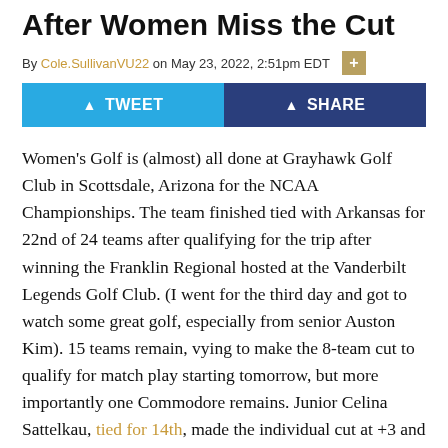After Women Miss the Cut
By Cole.SullivanVU22 on May 23, 2022, 2:51pm EDT
[Figure (other): Social sharing buttons: TWEET (blue) and SHARE (dark blue)]
Women's Golf is (almost) all done at Grayhawk Golf Club in Scottsdale, Arizona for the NCAA Championships. The team finished tied with Arkansas for 22nd of 24 teams after qualifying for the trip after winning the Franklin Regional hosted at the Vanderbilt Legends Golf Club. (I went for the third day and got to watch some great golf, especially from senior Auston Kim). 15 teams remain, vying to make the 8-team cut to qualify for match play starting tomorrow, but more importantly one Commodore remains. Junior Celina Sattelkau, tied for 14th, made the individual cut at +3 and 12 off the lead. She'll have another day in Scottsdale, the apparent city of college golfing dreams, to beat out Rose Zhang of Stanford for an individual championship.